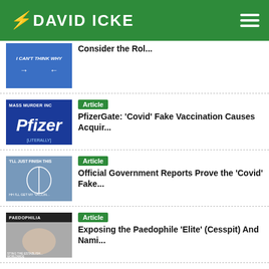DAVID ICKE
Consider the Rol...
Article – PfizerGate: 'Covid' Fake Vaccination Causes Acquir...
Article – Official Government Reports Prove the 'Covid' Fake...
Article – Exposing the Paedophile 'Elite' (Cesspit) And Nami...
Article – DeSantis: 'Every Single Mandate Must Be Removed■...